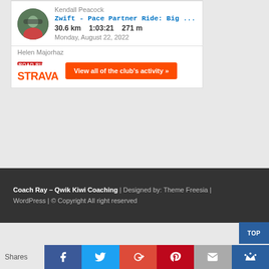Kendall Peacock
Zwift - Pace Partner Ride: Big ...
30.6 km   1:03:21   271 m
Monday, August 22, 2022
Helen Majorhaz
[Figure (logo): Strava logo with small road cycling icon above and bold orange STRAVA wordmark]
View all of the club's activity »
Coach Ray – Qwik Kiwi Coaching | Designed by: Theme Freesia | WordPress | © Copyright All right reserved
TOP
Shares